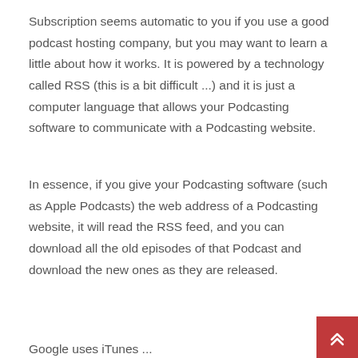Subscription seems automatic to you if you use a good podcast hosting company, but you may want to learn a little about how it works. It is powered by a technology called RSS (this is a bit difficult ...) and it is just a computer language that allows your Podcasting software to communicate with a Podcasting website.
In essence, if you give your Podcasting software (such as Apple Podcasts) the web address of a Podcasting website, it will read the RSS feed, and you can download all the old episodes of that Podcast and download the new ones as they are released.
Google uses iTunes ...